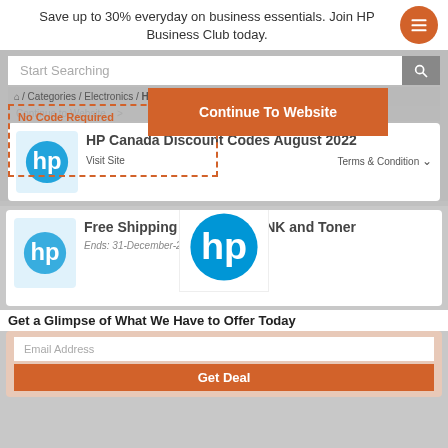Save up to 30% everyday on business essentials. Join HP Business Club today.
[Figure (screenshot): HP Canada discount codes website screenshot with search bar, No Code Required dashed box, Continue To Website orange overlay button, breadcrumb navigation, HP logo card, and second card showing Free Shipping on Order of INK and Toner offer ending 31-December-2022]
No Code Required
Continue To Website
/ Categories / Electronics / HP Canada
HP Canada Discount Codes August 2022
Visit Site
Terms & Condition
Free Shipping on Order of INK and Toner
Ends: 31-December-2022
Get a Glimpse of What We Have to Offer Today
Email Address
Get Deal